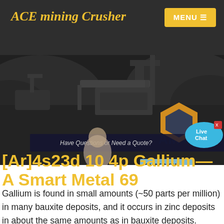ACE mining Crusher
[Figure (photo): Mining/crushing equipment site with heavy machinery, dark industrial hero image background with overlaid UI elements including a chat widget, live chat bubble, quote banner, and a person (customer service representative)]
[Ar]4s23d 10 4p Gallium—A Smart Metal 69
Gallium is found in small amounts (~50 parts per million) in many bauxite deposits, and it occurs in zinc deposits in about the same amounts as in bauxite deposits. Currently, gallium is obtained mainly from mining and mineral processing of bauxite ore for aluminum, although some